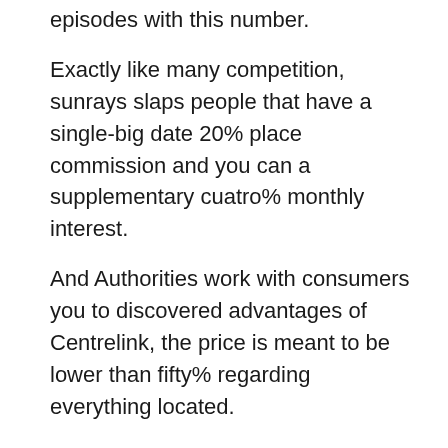episodes with this number.
Exactly like many competition, sunrays slaps people that have a single-big date 20% place commission and you can a supplementary cuatro% monthly interest.
And Authorities work with consumers you to discovered advantages of Centrelink, the price is meant to be lower than fifty% regarding everything located.
Cost date is mainly according to the function of the debtor to expend over the years.